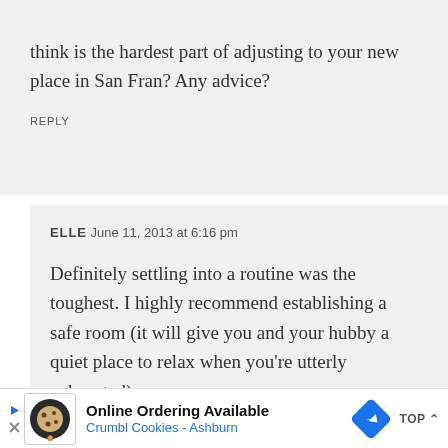think is the hardest part of adjusting to your new place in San Fran? Any advice?
REPLY
ELLE June 11, 2013 at 6:16 pm
Definitely settling into a routine was the toughest. I highly recommend establishing a safe room (it will give you and your hubby a quiet place to relax when you're utterly exhausted)
[Figure (other): Advertisement bar: Online Ordering Available - Crumbl Cookies Ashburn, with cookie logo and blue navigation arrow icon, and TOP button]